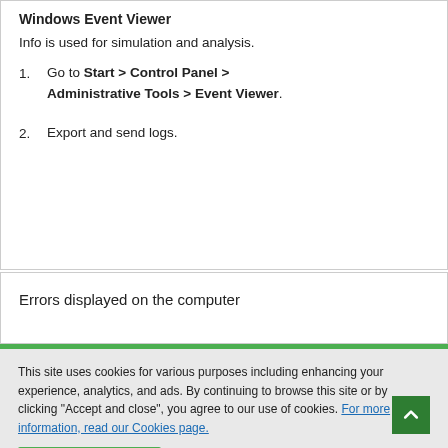Windows Event Viewer (partial, cropped at top)
Info is used for simulation and analysis.
1. Go to Start > Control Panel > Administrative Tools > Event Viewer.
2. Export and send logs.
Errors displayed on the computer
This site uses cookies for various purposes including enhancing your experience, analytics, and ads. By continuing to browse this site or by clicking "Accept and close", you agree to our use of cookies. For more information, read our Cookies page.
Accept and close